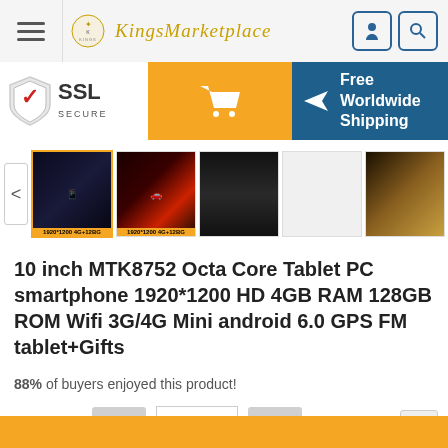KingsMarketplace
[Figure (screenshot): SSL Secure badge, orange cart button, Free Worldwide Shipping banner with airplane icon]
[Figure (screenshot): Product image thumbnails carousel with left/right arrows showing tablet PC images]
10 inch MTK8752 Octa Core Tablet PC smartphone 1920*1200 HD 4GB RAM 128GB ROM Wifi 3G/4G Mini android 6.0 GPS FM tablet+Gifts
88% of buyers enjoyed this product!
Quantity: 1